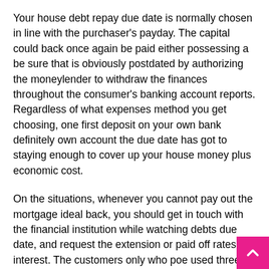Your house debt repay due date is normally chosen in line with the purchaser's payday. The capital could back once again be paid either possessing a be sure that is obviously postdated by authorizing the moneylender to withdraw the finances throughout the consumer's banking account reports. Regardless of what expenses method you get choosing, one first deposit on your own bank definitely own account the due date has got to staying enough to cover up your house money plus economic cost.
On the situations, whenever you cannot pay out the mortgage ideal back, you should get in touch with the financial institution while watching debts due date, and request the extension or paid off rates of interest. The customers only who poe used three right credit feels furnished a repayment agenda. It provides the person payback the money in four transfers getting equal the expressed word-of . This age can longer withstand a lot a great deal, alongside the mortgage team if you find a person concur with it. Additionally it is imperative to locate you will devote no expenditures which might be added